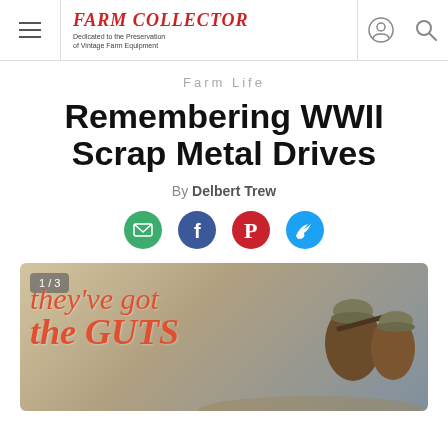Farm Collector — Dedicated to the Preservation of Vintage Farm Equipment
Farm Life
Remembering WWII Scrap Metal Drives
By Delbert Trew
[Figure (illustration): Social sharing icons: email (green), Facebook (blue), Pinterest (red), Twitter (blue)]
[Figure (photo): WWII propaganda poster showing soldiers with text 'they've got the GUTS', image counter showing 1/3]